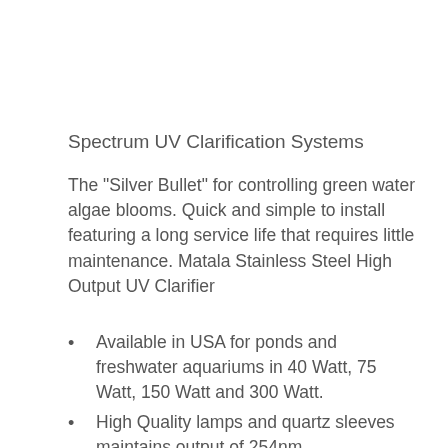Spectrum UV Clarification Systems
The "Silver Bullet" for controlling green water algae blooms. Quick and simple to install featuring a long service life that requires little maintenance. Matala Stainless Steel High Output UV Clarifier
Available in USA for ponds and freshwater aquariums in 40 Watt, 75 Watt, 150 Watt and 300 Watt.
High Quality lamps and quartz sleeves maintains output of 254nm.